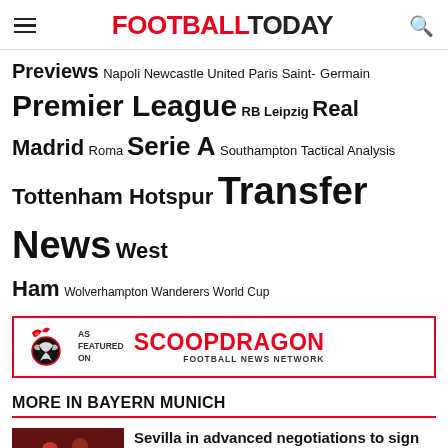FOOTBALL TODAY
Previews Napoli Newcastle United Paris Saint-Germain Premier League RB Leipzig Real Madrid Roma Serie A Southampton Tactical Analysis Tottenham Hotspur Transfer News West Ham Wolverhampton Wanderers World Cup
[Figure (logo): ScoopDragon Football News Network advertisement banner with football icon and red logo text]
MORE IN BAYERN MUNICH
Sevilla in advanced negotiations to sign Tanguy Nianzou from Bayern Munich
2022 Ballon d'Or nominees: Benzema, Mbappe, Salah lead 30-man shortlist